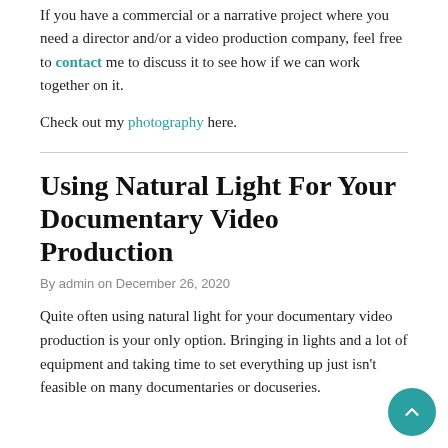If you have a commercial or a narrative project where you need a director and/or a video production company, feel free to contact me to discuss it to see how if we can work together on it.
Check out my photography here.
Using Natural Light For Your Documentary Video Production
By admin on December 26, 2020
Quite often using natural light for your documentary video production is your only option. Bringing in lights and a lot of equipment and taking time to set everything up just isn't feasible on many documentaries or docuseries.